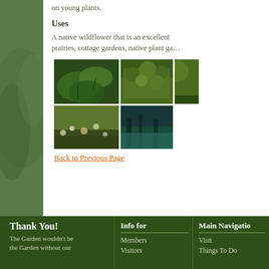on young plants.
Uses
A native wildflower that is an excellent… prairies, cottage gardens, native plant ga…
[Figure (photo): Grid of plant photos showing leaves, shrubs, meadow, and forest scenes]
Back to Previous Page
Thank You!
The Garden wouldn't be the Garden without our
Info for
Members
Visitors
Main Navigation
Visit
Things To Do